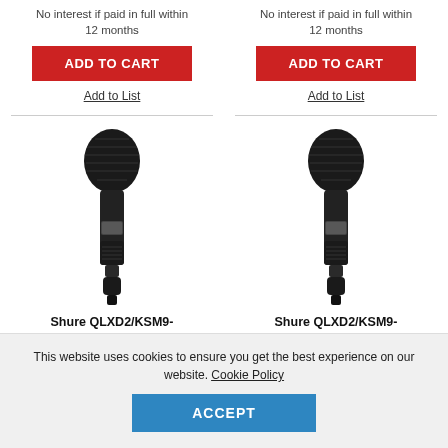No interest if paid in full within 12 months
No interest if paid in full within 12 months
ADD TO CART
ADD TO CART
Add to List
Add to List
[Figure (photo): Shure QLXD2/KSM9-V50 handheld wireless microphone transmitter, black]
[Figure (photo): Shure QLXD2/KSM9-X52 handheld wireless microphone transmitter, black]
Shure QLXD2/KSM9-V50 Handheld Transmitter with KSM...
Shure QLXD2/KSM9-X52 Handheld Transmitter with KSM...
This website uses cookies to ensure you get the best experience on our website. Cookie Policy
ACCEPT